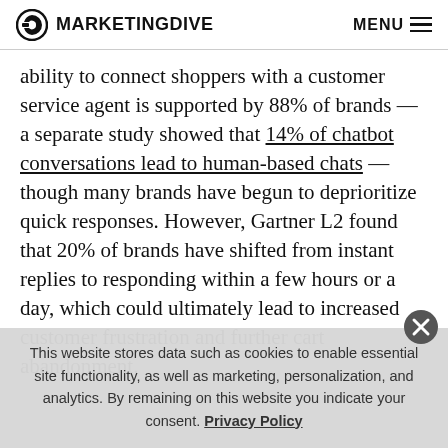MARKETING DIVE  MENU
ability to connect shoppers with a customer service agent is supported by 88% of brands — a separate study showed that 14% of chatbot conversations lead to human-based chats — though many brands have begun to deprioritize quick responses. However, Gartner L2 found that 20% of brands have shifted from instant replies to responding within a few hours or a day, which could ultimately lead to increased customer frustration and further cart abandonment.
This website stores data such as cookies to enable essential site functionality, as well as marketing, personalization, and analytics. By remaining on this website you indicate your consent. Privacy Policy